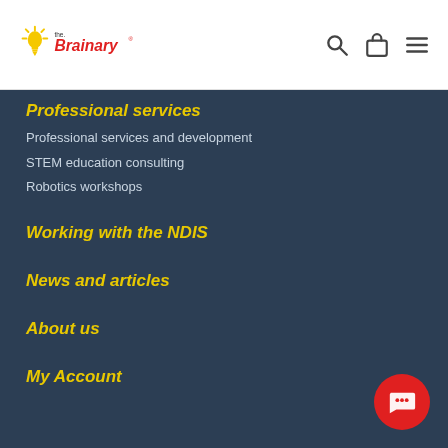the Brainary
Professional services
Professional services and development
STEM education consulting
Robotics workshops
Working with the NDIS
News and articles
About us
My Account
Support